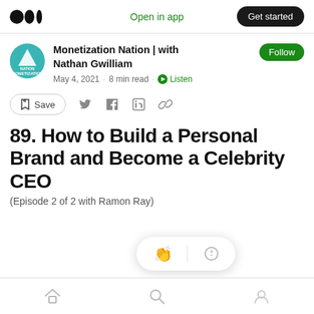Open in app · Get started
Monetization Nation | with Nathan Gwilliam
May 4, 2021 · 8 min read · Listen
Save
89. How to Build a Personal Brand and Become a Celebrity CEO
(Episode 2 of 2 with Ramon Ray)
Home · Search · Profile